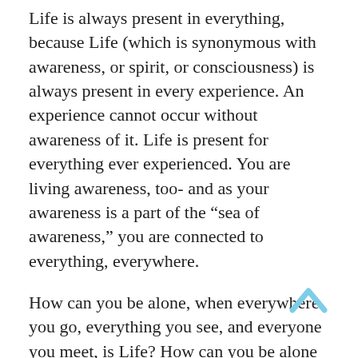Life is always present in everything, because Life (which is synonymous with awareness, or spirit, or consciousness) is always present in every experience. An experience cannot occur without awareness of it. Life is present for everything ever experienced. You are living awareness, too- and as your awareness is a part of the “sea of awareness,” you are connected to everything, everywhere.
How can you be alone, when everywhere you go, everything you see, and everyone you meet, is Life? How can you be alone when the you that sees is the same you that is all things?
There is no content that can occur within Life that can separate you from Life. There is no experience of distance, no experience of pain, no experience of loss that can truly separate